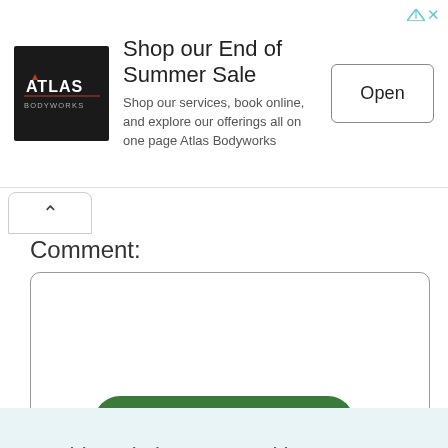[Figure (screenshot): Advertisement banner for Atlas Bodyworks: logo on left (dark square with ATLAS BODYWORKS text), headline 'Shop our End of Summer Sale', body text 'Shop our services, book online, and explore our offerings all on one page Atlas Bodyworks', and an 'Open' button on the right.]
Comment:
This website uses cookies to ensure you get the best experience on our website.
Cookie Policy
Got it!
Add Comment